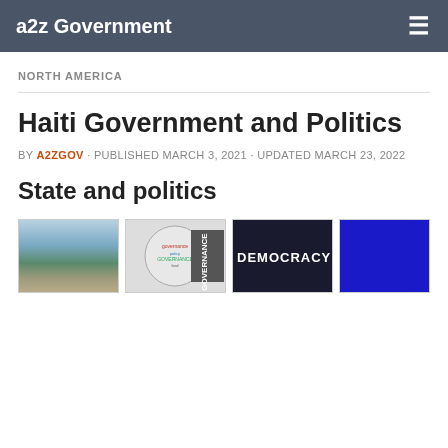a2z Government
NORTH AMERICA
Haiti Government and Politics
BY A2ZGOV · PUBLISHED MARCH 3, 2021 · UPDATED MARCH 23, 2022
State and politics
[Figure (photo): Four thumbnail images in a row: a landscape photo, a word cloud globe with governance terms, a democracy banner image, and a solid blue rectangle.]